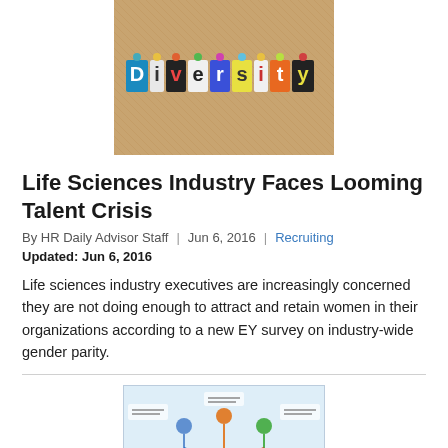[Figure (photo): Photo of the word 'Diversity' spelled out with colorful cut-out letters pinned on a cork board]
Life Sciences Industry Faces Looming Talent Crisis
By HR Daily Advisor Staff | Jun 6, 2016 | Recruiting
Updated: Jun 6, 2016
Life sciences industry executives are increasingly concerned they are not doing enough to attract and retain women in their organizations according to a new EY survey on industry-wide gender parity.
[Figure (infographic): Infographic illustration showing interconnected figures/icons related to talent and diversity concepts]